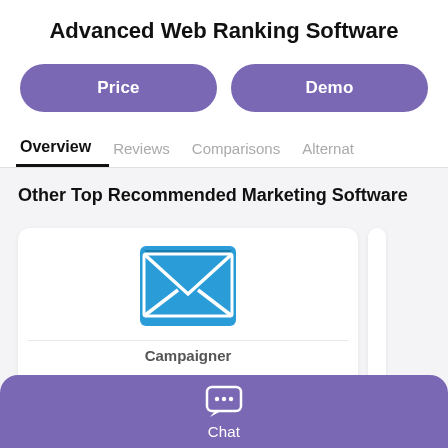Advanced Web Ranking Software
Price
Demo
Overview
Reviews
Comparisons
Alternat
Other Top Recommended Marketing Software
[Figure (logo): Email marketing envelope icon in blue and white — Campaigner logo]
Campaigner
Chat